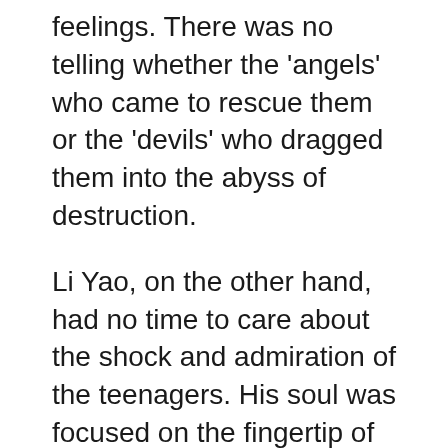feelings. There was no telling whether the 'angels' who came to rescue them or the 'devils' who dragged them into the abyss of destruction.
Li Yao, on the other hand, had no time to care about the shock and admiration of the teenagers. His soul was focused on the fingertip of Tang Ka.
This was the first time that he had performed his remote manipulation and refining skills to the maximum when he was above the Divinity Transformation Stage.
It was indeed seamless and natural!
Very soon, after hundreds of thousands of